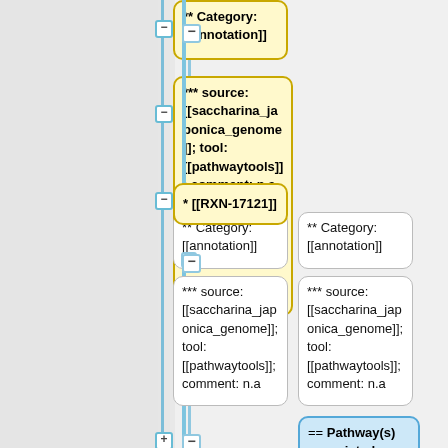** Category: [[annotation]]
*** source: [[saccharina_japonica_genome]]; tool: [[pathwaytools]]; comment: n.a
* [[RXN-17121]]
** Category: [[annotation]]
** Category: [[annotation]]
*** source: [[saccharina_japonica_genome]]; tool: [[pathwaytools]]; comment: n.a
*** source: [[saccharina_japonica_genome]]; tool: [[pathwaytools]]; comment: n.a
== Pathway(s) associated ==